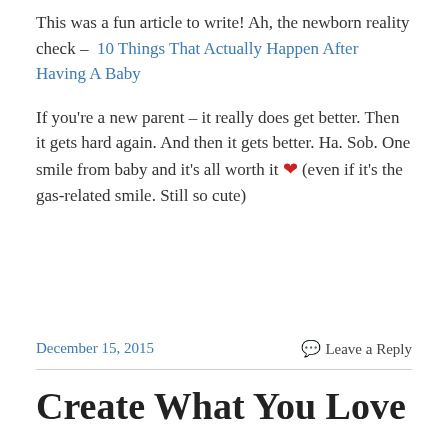This was a fun article to write! Ah, the newborn reality check – 10 Things That Actually Happen After Having A Baby
If you're a new parent – it really does get better. Then it gets hard again. And then it gets better. Ha. Sob. One smile from baby and it's all worth it ❤ (even if it's the gas-related smile. Still so cute)
December 15, 2015   Leave a Reply
Create What You Love –